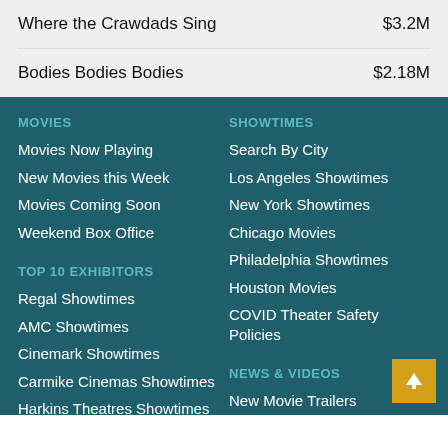Where the Crawdads Sing  $3.2M
Bodies Bodies Bodies  $2.18M
MOVIES
Movies Now Playing
New Movies this Week
Movies Coming Soon
Weekend Box Office
SHOWTIMES
Search By City
Los Angeles Showtimes
New York Showtimes
Chicago Movies
Philadelphia Showtimes
Houston Movies
COVID Theater Safety Policies
TOP 10 EXHIBITORS
Regal Showtimes
AMC Showtimes
Cinemark Showtimes
Carmike Cinemas Showtimes
Harkins Theatres Showtimes
Marcus Theatres Showtimes
National Amusements...
NEWS & VIDEOS
New Movie Trailers
Movie News
Celebrity News
Free Contests